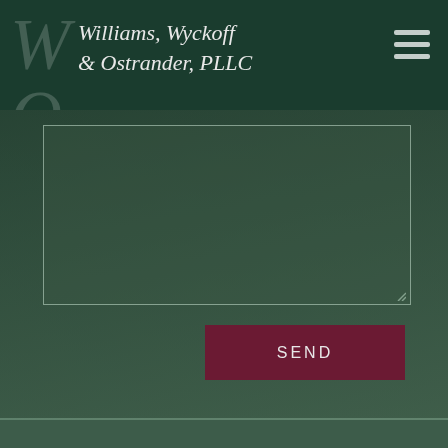[Figure (logo): Williams, Wyckoff & Ostrander, PLLC law firm logo with stylized WO monogram on dark green header background]
[Figure (screenshot): Contact form textarea with dark green background showing a car image behind it and a Send button]
Copryright Information. All Rights Reserved.
Website Design by Flowstate Creatives